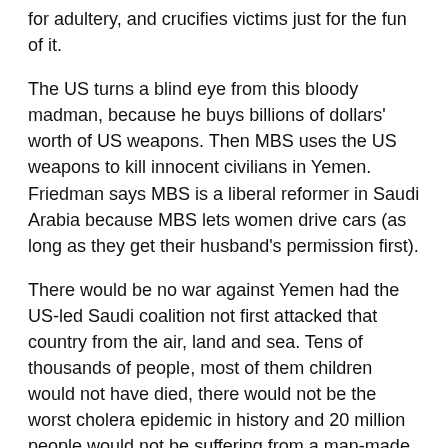for adultery, and crucifies victims just for the fun of it.
The US turns a blind eye from this bloody madman, because he buys billions of dollars' worth of US weapons. Then MBS uses the US weapons to kill innocent civilians in Yemen. Friedman says MBS is a liberal reformer in Saudi Arabia because MBS lets women drive cars (as long as they get their husband's permission first).
There would be no war against Yemen had the US-led Saudi coalition not first attacked that country from the air, land and sea. Tens of thousands of people, most of them children would not have died, there would not be the worst cholera epidemic in history and 20 million people would not be suffering from a man-made famine, had the US-backed Saudis not invaded Yemen. It was the Obama administration that gave the Saudis the nod, wink and the military support for its war of aggression against Yemen. Yemen had not attacked or threatened anybody.
It was the US-led Saudi coalition that started the war in 2015. It was code named Operation Decisive Storm. Like most US-backed, it was not decisive.